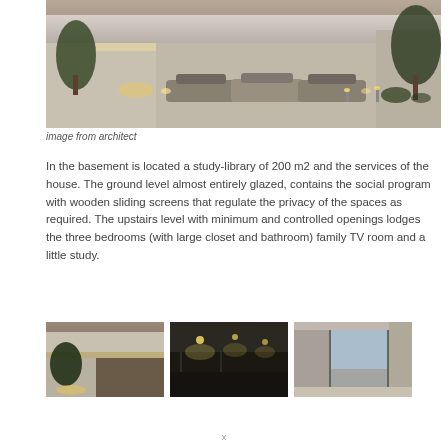[Figure (photo): Architectural rendering of a modern house exterior at dusk showing cars parked under a large cantilevered roof structure with trees and landscape lighting]
image from architect
In the basement is located a study-library of 200 m2 and the services of the house. The ground level almost entirely glazed, contains the social program with wooden sliding screens that regulate the privacy of the spaces as required. The upstairs level with minimum and controlled openings lodges the three bedrooms (with large closet and bathroom) family TV room and a little study.
[Figure (photo): Exterior architectural photo showing underside of cantilevered roof with lighting at dusk]
[Figure (photo): Interior photo showing ceiling with spotlights in a dark room]
[Figure (photo): Interior photo showing large glass windows/sliding doors with concrete walls]
x